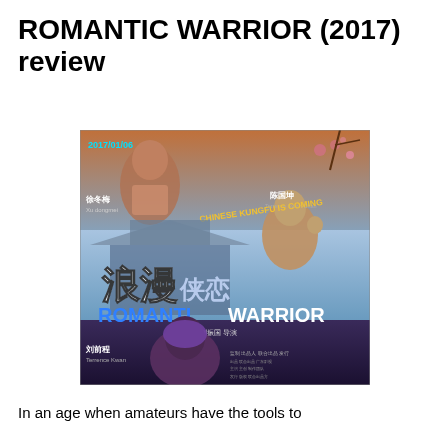ROMANTIC WARRIOR (2017) review
[Figure (photo): Movie poster for Romantic Warrior (2017), a Chinese martial arts film. The poster features Chinese characters 浪漫 and 侠恋 alongside the English title ROMANTIC WARRIOR. Text reads 'CHINESE KUNGFU IS COMING' and '2017/01/06'. Three actors are shown: a woman in traditional Chinese dress, a man in a fighting pose, and a young woman with purple hair. Actor credits shown: 徐冬梅 (Xu Dongmei), 陈国坤 (Terrence Ngoon-Kwan Chan), 刘前程 (Terrence Kwan).]
In an age when amateurs have the tools to